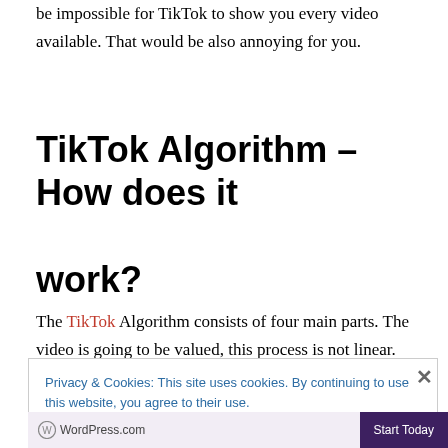be impossible for TikTok to show you every video available. That would be also annoying for you.
TikTok Algorithm – How does it work?
The TikTok Algorithm consists of four main parts. The video is going to be valued, this process is not linear. In
Privacy & Cookies: This site uses cookies. By continuing to use this website, you agree to their use.
To find out more, including how to control cookies, see here: Cookie Policy
Close and accept